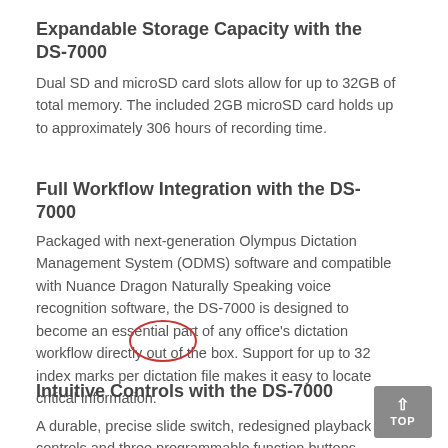Expandable Storage Capacity with the DS-7000
Dual SD and microSD card slots allow for up to 32GB of total memory. The included 2GB microSD card holds up to approximately 306 hours of recording time.
Full Workflow Integration with the DS-7000
Packaged with next-generation Olympus Dictation Management System (ODMS) software and compatible with Nuance Dragon Naturally Speaking voice recognition software, the DS-7000 is designed to become an essential part of any office’s dictation workflow directly out of the box. Support for up to 32 index marks per dictation file makes it easy to locate critical information.
Intuitive Controls with the DS-7000
A durable, precise slide switch, redesigned playback controls and three programmable function buttons